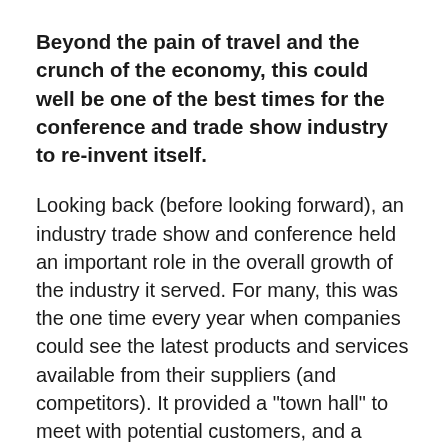Beyond the pain of travel and the crunch of the economy, this could well be one of the best times for the conference and trade show industry to re-invent itself.
Looking back (before looking forward), an industry trade show and conference held an important role in the overall growth of the industry it served. For many, this was the one time every year when companies could see the latest products and services available from their suppliers (and competitors). It provided a "town hall" to meet with potential customers, and a place to celebrate one another's successes. The addition of keynote addresses and concurrent learning tracks